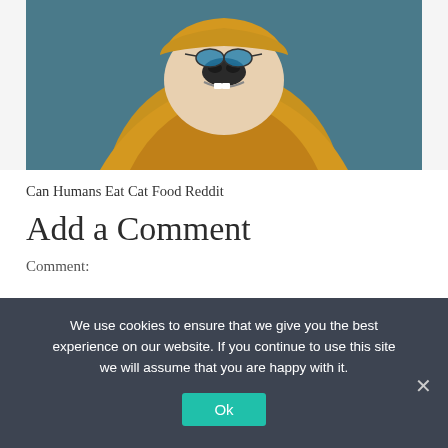[Figure (photo): A dog with its face wrapped in a yellow/mustard colored towel or blanket, nose and mouth visible, photographed against a dark teal blue background. The image is cropped to show the dog's face and upper body area.]
Can Humans Eat Cat Food Reddit
Add a Comment
Comment:
We use cookies to ensure that we give you the best experience on our website. If you continue to use this site we will assume that you are happy with it.